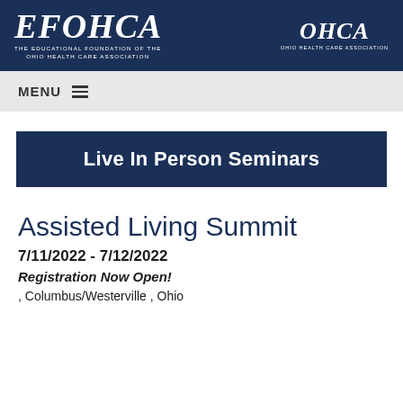EFOHCA THE EDUCATIONAL FOUNDATION OF THE OHIO HEALTH CARE ASSOCIATION | OHCA OHIO HEALTH CARE ASSOCIATION
MENU
Live In Person Seminars
Assisted Living Summit
7/11/2022 - 7/12/2022
Registration Now Open!
, Columbus/Westerville , Ohio